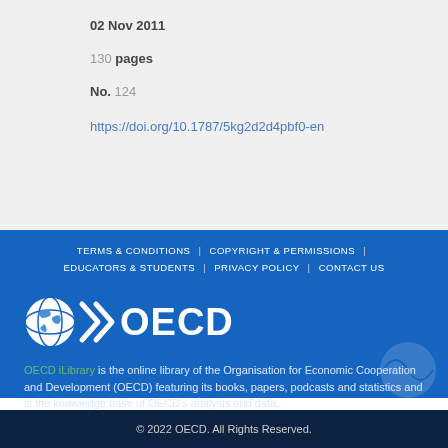02 Nov 2011
130 pages
No. 124
https://doi.org/10.1787/5kg2d2d4pbf0-en
TERMS & CONDITIONS | COPYRIGHT & PERMISSIONS | EDUCATORS & STUDENTS | PRIVACY POLICY | CONTACT US
[Figure (logo): OECD logo with globe icon and chevrons]
OECD iLibrary is the online library of the Organisation for Economic Cooperation and Development (OECD) featuring its books, papers, podcasts and statistics and is the knowledge base of OECD's analysis and data.
© 2022 OECD. All Rights Reserved.